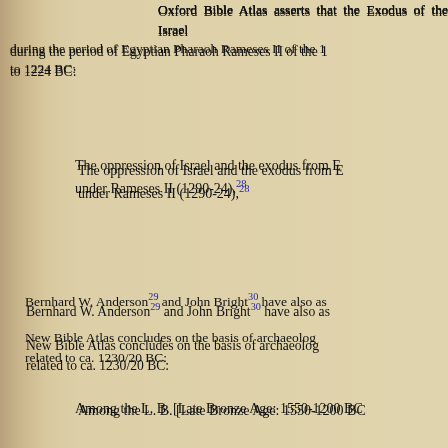Oxford Bible Atlas asserts that the Exodus of the Israelites occurred during the period of Egyptian Pharaoh Rameses II of the 1[...] to 1224 BC:
The oppression of Israel and the exodus from E[gypt] under Rameses II (1290-24),28
Bernhard W. Anderson29 and John Bright30 have also as[serted...]
New Bible Atlas concludes on the basis of archaeolog[ical evidence] related to ca. 1230/20 BC:
Among the L. B. [Late Bronze Age: 1550-1200 BC] the period are some listed among Israel's conq[uests:] Eglon (Tell el-Hesi), Debir (Tell el-Beit Mirsim) a[nd...] therefore interpreted these destructions as th[e...] Israel's entry into Canaan, dating the event c. 1[...] Iron Age I [1200-330 BC] culture which followed [...] 'Israelite'.(….). It appears from the latest evi[dence] destroyed c. 1175 BC rather than 1230/20 BC.31
Now if this Pharaoh Rameses II (1290-24 BC)32 be, as [...] the Bible, the same Pharaoh, during whose reign the Isra[elites...] he must have drowned in the sea while chasing Israelites. [...] in detail: